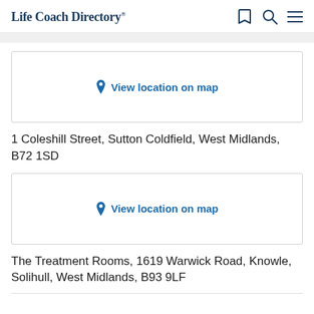Life Coach Directory
[Figure (map): Map placeholder with 'View location on map' link and pin icon]
1 Coleshill Street, Sutton Coldfield, West Midlands, B72 1SD
[Figure (map): Map placeholder with 'View location on map' link and pin icon]
The Treatment Rooms, 1619 Warwick Road, Knowle, Solihull, West Midlands, B93 9LF